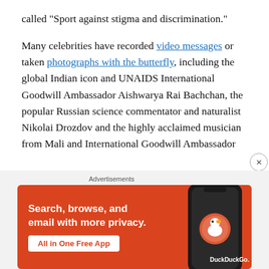called “Sport against stigma and discrimination.”
Many celebrities have recorded video messages or taken photographs with the butterfly, including the global Indian icon and UNAIDS International Goodwill Ambassador Aishwarya Rai Bachchan, the popular Russian science commentator and naturalist Nikolai Drozdov and the highly acclaimed musician from Mali and International Goodwill Ambassador
[Figure (infographic): DuckDuckGo advertisement banner: orange background with text 'Search, browse, and email with more privacy. All in One Free App' and DuckDuckGo logo with phone graphic]